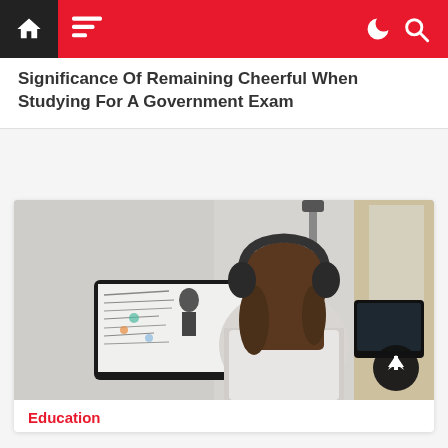Navigation bar with home icon, menu icon, dark mode toggle, and search icon
Significance Of Remaining Cheerful When Studying For A Government Exam
[Figure (photo): A woman with headphones sitting at a desk, viewed from behind, watching an online lecture on a monitor showing a teacher at a whiteboard]
Education